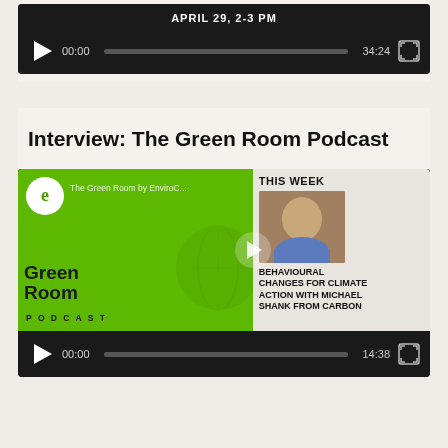[Figure (screenshot): Audio player widget showing APRIL 29, 2-3 PM with time 00:00 / 34:24 and a progress bar on dark background]
Interview: The Green Room Podcast
[Figure (screenshot): Video thumbnail for The Green Room Podcast featuring green left panel with logo and text 'The Green Room PODCAST', right panel showing 'THIS WEEK' with guest photo and text 'BEHAVIOURAL CHANGES FOR CLIMATE ACTION WITH MICHAEL SHANK FROM CARBON'. Below is a media player showing 00:00 / 14:38.]